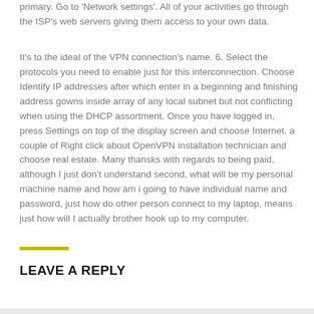primary. Go to 'Network settings'. All of your activities go through the ISP's web servers giving them access to your own data.
It's to the ideal of the VPN connection's name. 6. Select the protocols you need to enable just for this interconnection. Choose Identify IP addresses after which enter in a beginning and finishing address gowns inside array of any local subnet but not conflicting when using the DHCP assortment. Once you have logged in, press Settings on top of the display screen and choose Internet. a couple of Right click about OpenVPN installation technician and choose real estate. Many thansks with regards to being paid, although I just don't understand second, what will be my personal machine name and how am i going to have individual name and password, just how do other person connect to my laptop, means just how will I actually brother hook up to my computer.
LEAVE A REPLY